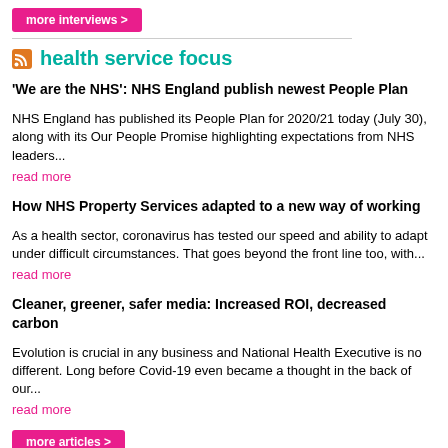more interviews >
health service focus
'We are the NHS': NHS England publish newest People Plan
NHS England has published its People Plan for 2020/21 today (July 30), along with its Our People Promise highlighting expectations from NHS leaders...
read more
How NHS Property Services adapted to a new way of working
As a health sector, coronavirus has tested our speed and ability to adapt under difficult circumstances. That goes beyond the front line too, with...
read more
Cleaner, greener, safer media: Increased ROI, decreased carbon
Evolution is crucial in any business and National Health Executive is no different. Long before Covid-19 even became a thought in the back of our...
read more
more articles >